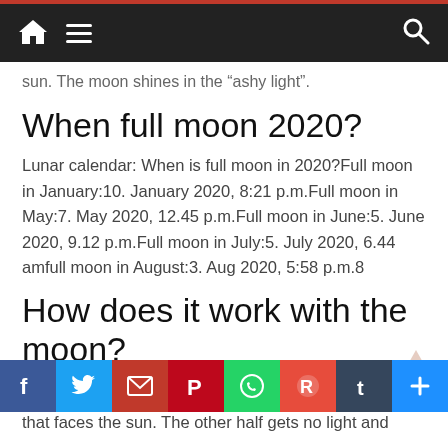Navigation bar with home, menu, and search icons
sun. The moon shines in the “ashy light”.
When full moon 2020?
Lunar calendar: When is full moon in 2020?Full moon in January:10. January 2020, 8:21 p.m.Full moon in May:7. May 2020, 12.45 p.m.Full moon in June:5. June 2020, 9.12 p.m.Full moon in July:5. July 2020, 6.44 amfull moon in August:3. Aug 2020, 5:58 p.m.8
How does it work with the moon?
The moon (like the earth) does not shine by itself. We only see it because it is illuminated by the sun. More only see it because it is illuminated by the sun. More of the lunar sphere that faces the sun. The other half gets no light and